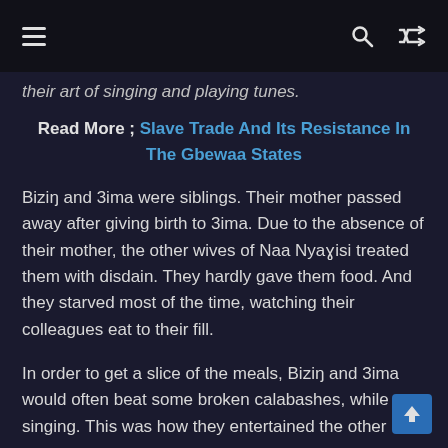Navigation bar with hamburger menu, search icon, and shuffle icon
their art of singing and playing tunes.
Read More ; Slave Trade And Its Resistance In The Gbewaa States
Bizin̥ and 3ima were siblings. Their mother passed away after giving birth to 3ima. Due to the absence of their mother, the other wives of Naa Nyaɣisi treated them with disdain. They hardly gave them food. And they starved most of the time, watching their colleagues eat to their fill.
In order to get a slice of the meals, Bizin̥ and 3ima would often beat some broken calabashes, while singing. This was how they entertained the other